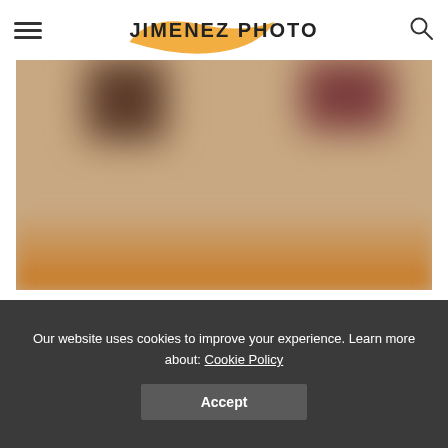JIMENEZ PHOTO
[Figure (photo): Blurred photo of french doors with brown blackout roman shade in top down bottom up style]
french doors with brown blackout roman shade in top down bottom up style. image © landlwindowfashions.com
Our website uses cookies to improve your experience. Learn more about: Cookie Policy